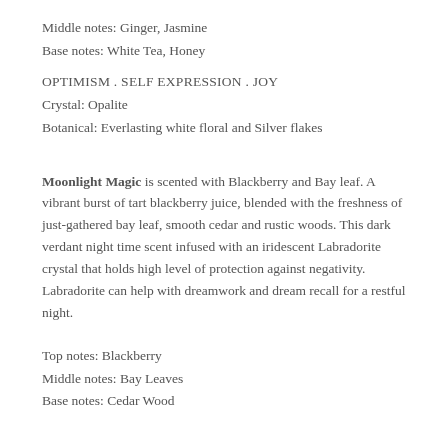Middle notes: Ginger, Jasmine
Base notes: White Tea, Honey
OPTIMISM . SELF EXPRESSION . JOY
Crystal: Opalite
Botanical: Everlasting white floral and Silver flakes
Moonlight Magic is scented with Blackberry and Bay leaf. A vibrant burst of tart blackberry juice, blended with the freshness of just-gathered bay leaf, smooth cedar and rustic woods. This dark verdant night time scent infused with an iridescent Labradorite crystal that holds high level of protection against negativity. Labradorite can help with dreamwork and dream recall for a restful night.
Top notes: Blackberry
Middle notes: Bay Leaves
Base notes: Cedar Wood